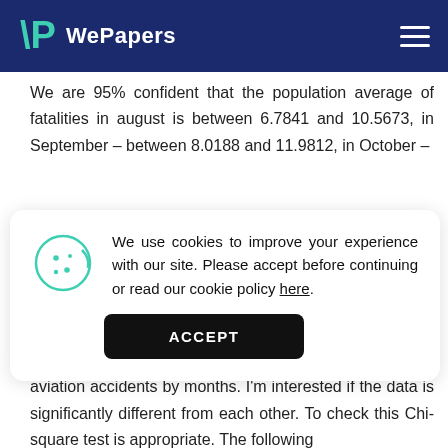WePapers
We are 95% confident that the population average of fatalities in august is between 6.7841 and 10.5673, in September – between 8.0188 and 11.9812, in October –
[Figure (screenshot): Cookie consent banner with cookie icon, text asking user to accept cookies or read cookie policy, and an ACCEPT button]
I'm given with the frequency distribution of fatalities in aviation accidents by months. I'm interested if the data is significantly different from each other. To check this Chi-square test is appropriate. The following